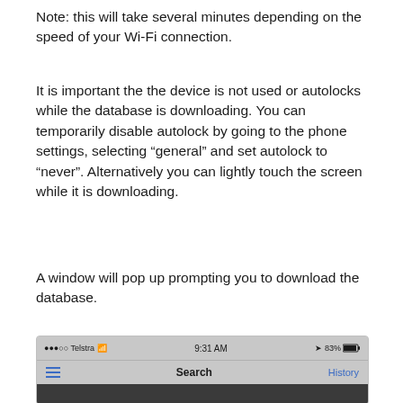Note: this will take several minutes depending on the speed of your Wi-Fi connection.
It is important the the device is not used or autolocks while the database is downloading. You can temporarily disable autolock by going to the phone settings, selecting “general” and set autolock to “never”. Alternatively you can lightly touch the screen while it is downloading.
A window will pop up prompting you to download the database.
[Figure (screenshot): iOS app screenshot showing status bar with '●●●○○ Telstra ≈ 9:31 AM ➤ 83% battery' and navigation bar with hamburger menu, 'Search' title, and 'History' button in blue. Below is a dark content area.]